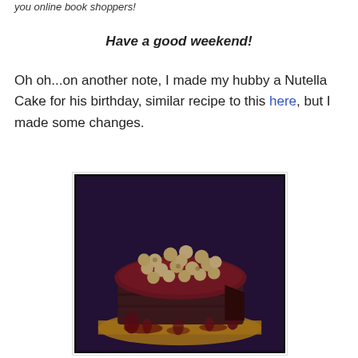you online book shoppers!
Have a good weekend!
Oh oh...on another note, I made my hubby a Nutella Cake for his birthday, similar recipe to this here, but I made some changes.
[Figure (photo): A Nutella birthday cake covered in dark chocolate ganache and topped with whole hazelnuts, sitting on a wooden board. The cake has multiple layers visible from the side with ganache dripping down.]